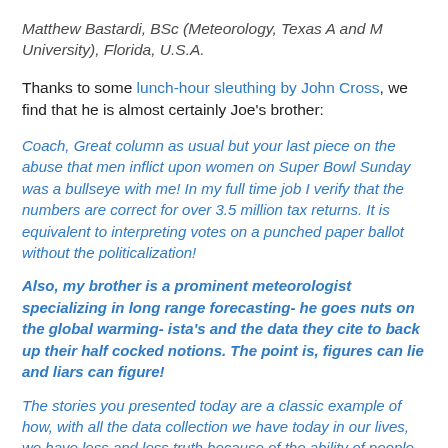Matthew Bastardi, BSc (Meteorology, Texas A and M University), Florida, U.S.A.
Thanks to some lunch-hour sleuthing by John Cross, we find that he is almost certainly Joe's brother:
Coach, Great column as usual but your last piece on the abuse that men inflict upon women on Super Bowl Sunday was a bullseye with me! In my full time job I verify that the numbers are correct for over 3.5 million tax returns. It is equivalent to interpreting votes on a punched paper ballot without the politicalization!
Also, my brother is a prominent meteorologist specializing in long range forecasting- he goes nuts on the global warming- ista's and the data they cite to back up their half cocked notions. The point is, figures can lie and liars can figure!
The stories you presented today are a classic example of how, with all the data collection we have today in our lives, we have less and less truth because of the ability of people